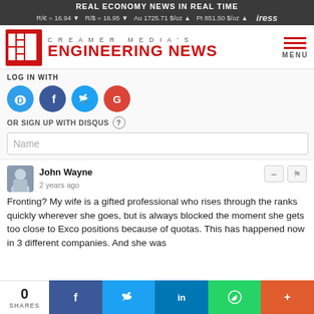REAL ECONOMY NEWS IN REAL TIME | R/€ = 16.94 ▼ R/$ = 16.95 ▼ Au 1725.71 $/oz ▲ Pt 851.50 $/oz ▲ iress
[Figure (logo): Creamer Media's Engineering News logo with red EN icon and red bold text]
LOG IN WITH
[Figure (infographic): Social login icons: Disqus (blue D), Facebook (dark blue f), Twitter (light blue bird), Google (red G)]
OR SIGN UP WITH DISQUS ?
Name
John Wayne
2 years ago
Fronting? My wife is a gifted professional who rises through the ranks quickly wherever she goes, but is always blocked the moment she gets too close to Exco positions because of quotas. This has happened now in 3 different companies. And she was
0 SHARES | Facebook | Twitter | LinkedIn | WhatsApp | More